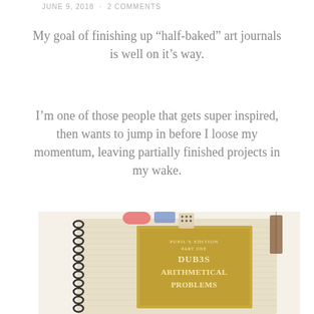JUNE 9, 2018 · 2 COMMENTS
My goal of finishing up “half-baked” art journals is well on it’s way.
I’m one of those people that gets super inspired, then wants to jump in before I loose my momentum, leaving partially finished projects in my wake.
[Figure (photo): A decorative art journal with spiral binding, covered in vintage newspaper/text collage paper, with a gold-toned label reading 'Dub3s Arithmetical Problems' and various craft embellishments like fabric and a die visible at the top.]